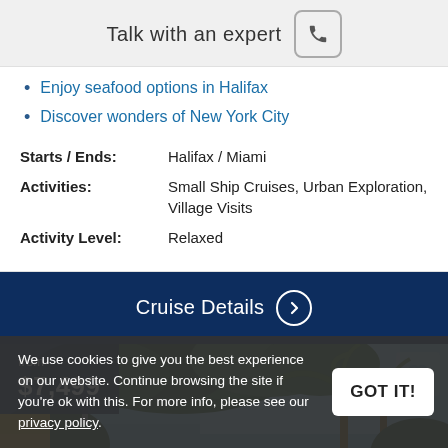Talk with an expert
Enjoy seafood options in Halifax
Discover wonders of New York City
| Starts / Ends: | Halifax / Miami |
| Activities: | Small Ship Cruises, Urban Exploration, Village Visits |
| Activity Level: | Relaxed |
Cruise Details
[Figure (photo): Outdoor travel photo showing trees with green foliage, palm trees, and blue sky, with a price overlay showing 'from $7,499' in the top-left corner and a heart icon in the top-right corner.]
We use cookies to give you the best experience on our website. Continue browsing the site if you're ok with this. For more info, please see our privacy policy.